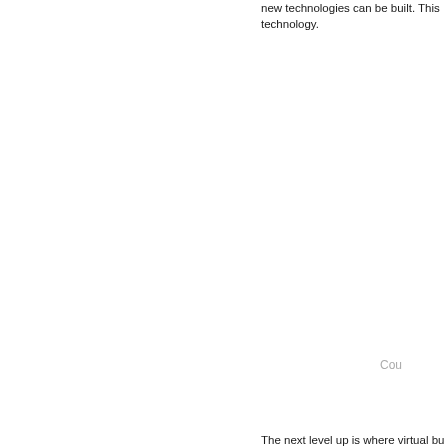new technologies can be built. This technology.
Cou
The next level up is where virtual bu